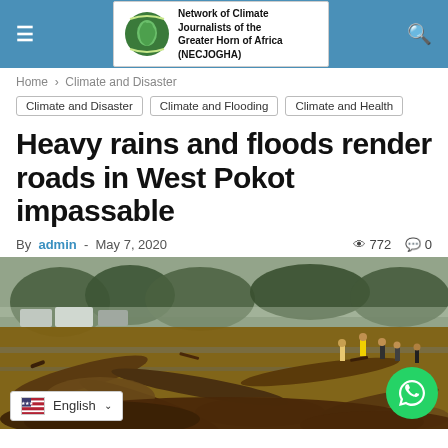Network of Climate Journalists of the Greater Horn of Africa (NECJOGHA)
Home > Climate and Disaster
Climate and Disaster
Climate and Flooding
Climate and Health
Heavy rains and floods render roads in West Pokot impassable
By admin - May 7, 2020  👁 772  💬 0
[Figure (photo): Flood damage scene showing a road blocked by debris and uprooted trees after heavy rains in West Pokot. People standing on the debris. Vehicles visible in the background. Misty/cloudy weather.]